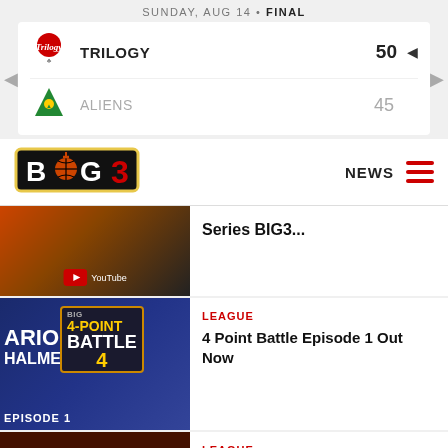SUNDAY, AUG 14 • FINAL
| Team | Score |
| --- | --- |
| TRILOGY | 50 |
| ALIENS | 45 |
[Figure (logo): BIG3 basketball league logo with basketball icon]
NEWS
[Figure (photo): Partial news thumbnail - Series BIG3...]
Series BIG3...
[Figure (photo): Mario Chalmers 4-Point Battle Episode 1 thumbnail]
LEAGUE
4 Point Battle Episode 1 Out Now
[Figure (photo): Basketball players action photo for Three Takeaways From Week 8]
LEAGUE
Three Takeaways From Week 8
[Figure (photo): Partial bottom news thumbnail]
LEAGUE